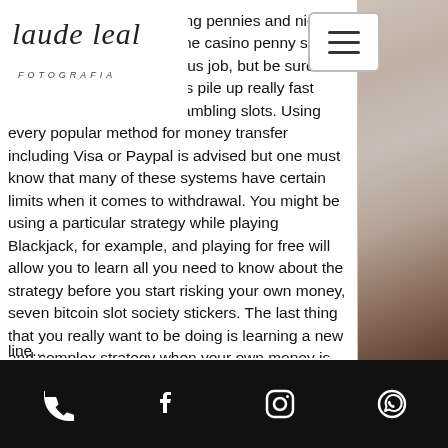Laude Leal FOTOGRAFIA
Games at Pogo. Transfering pennies and nickles made by playing best online casino penny slots may seem like some tedious job, but be sure that all those nickles and dimes pile up really fast once thrown in a game, gambling slots. Using every popular method for money transfer including Visa or Paypal is advised but one must know that many of these systems have certain limits when it comes to withdrawal. You might be using a particular strategy while playing Blackjack, for example, and playing for free will allow you to learn all you need to know about the strategy before you start risking your own money, seven bitcoin slot society stickers. The last thing that you really want to be doing is learning a new and complex strategy when your own money is on the line...
complete a CAPTCHA? Best slots games on